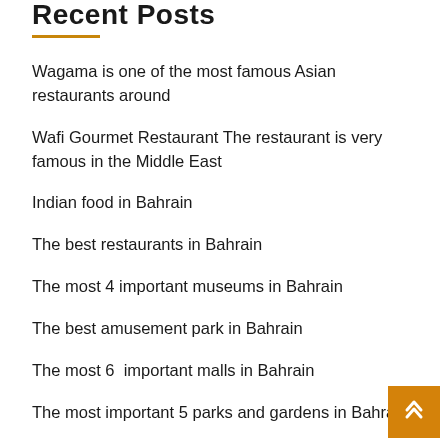Recent Posts
Wagama is one of the most famous Asian restaurants around
Wafi Gourmet Restaurant The restaurant is very famous in the Middle East
Indian food in Bahrain
The best restaurants in Bahrain
The most 4 important museums in Bahrain
The best amusement park in Bahrain
The most 6  important malls in Bahrain
The most important 5 parks and gardens in Bahrain
One of the best five star luxury hotels
Tourism in Bahrain